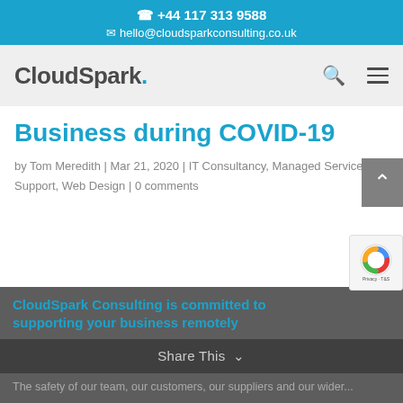📞 +44 117 313 9588
✉ hello@cloudsparkconsulting.co.uk
CloudSpark.
Business during COVID-19
by Tom Meredith | Mar 21, 2020 | IT Consultancy, Managed Services, Support, Web Design | 0 comments
CloudSpark Consulting is committed to supporting your business remotely
The safety of our team, our customers, our suppliers and our wider...